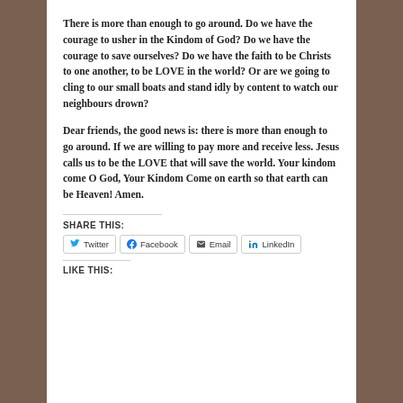There is more than enough to go around. Do we have the courage to usher in the Kindom of God? Do we have the courage to save ourselves? Do we have the faith to be Christs to one another, to be LOVE in the world? Or are we going to cling to our small boats and stand idly by content to watch our neighbours drown?
Dear friends, the good news is: there is more than enough to go around. If we are willing to pay more and receive less. Jesus calls us to be the LOVE that will save the world. Your kindom come O God, Your Kindom Come on earth so that earth can be Heaven! Amen.
SHARE THIS:
Twitter  Facebook  Email  LinkedIn
LIKE THIS: